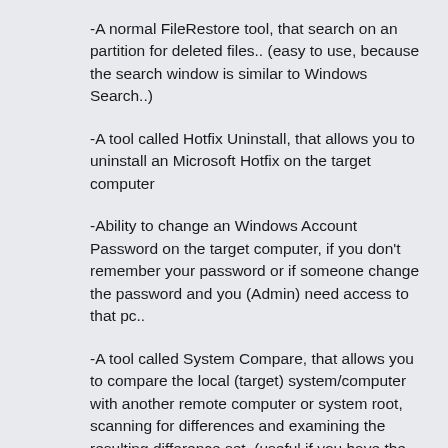-A normal FileRestore tool, that search on an partition for deleted files.. (easy to use, because the search window is similar to Windows Search..)
-A tool called Hotfix Uninstall, that allows you to uninstall an Microsoft Hotfix on the target computer
-Ability to change an Windows Account Password on the target computer, if you don't remember your password or if someone change the password and you (Admin) need access to that pc..
-A tool called System Compare, that allows you to compare the local (target) system/computer with another remote computer or system root, scanning for differences and examining the resulting difference set. (useful if you have the same configuration on every or many